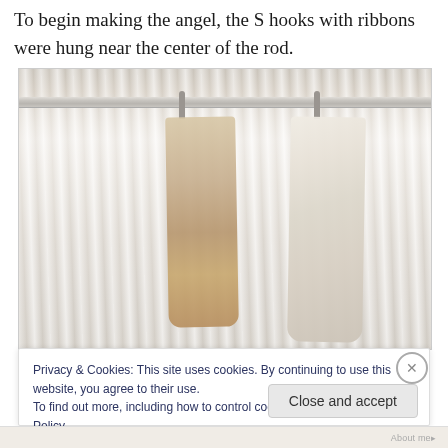To begin making the angel, the S hooks with ribbons were hung near the center of the rod.
[Figure (photo): Two fabric ribbons or angel body forms hanging from S-hooks on a curtain rod, against a sheer white curtain backdrop. Left ribbon is tan/tawny colored, right ribbon is cream/ivory colored.]
Privacy & Cookies: This site uses cookies. By continuing to use this website, you agree to their use.
To find out more, including how to control cookies, see here: Cookie Policy
Close and accept